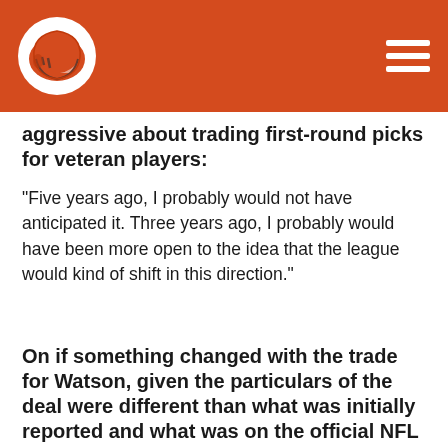[Figure (logo): Cleveland Browns helmet logo in white circle on orange header bar with hamburger menu icon]
aggressive about trading first-round picks for veteran players:
“Five years ago, I probably would not have anticipated it. Three years ago, I probably would have been more open to the idea that the league would kind of shift in this direction.”
On if something changed with the trade for Watson, given the particulars of the deal were different than what was initially reported and what was on the official NFL transaction when complete:
“No, the only thing I can think of is we were really kind of finalizing the deal through the weekend, but the